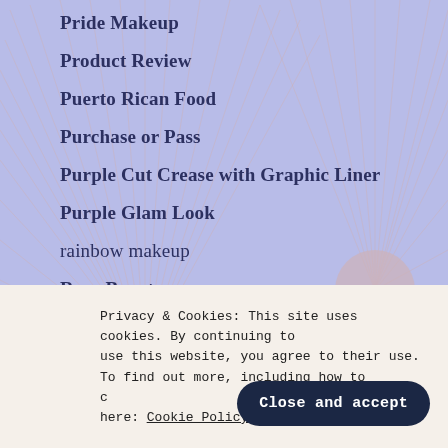Pride Makeup
Product Review
Puerto Rican Food
Purchase or Pass
Purple Cut Crease with Graphic Liner
Purple Glam Look
rainbow makeup
Rare Beauty
Recipes
Red and Pink Cut Crease (partial)
Privacy & Cookies: This site uses cookies. By continuing to use this website, you agree to their use. To find out more, including how to control cookies, see here: Cookie Policy